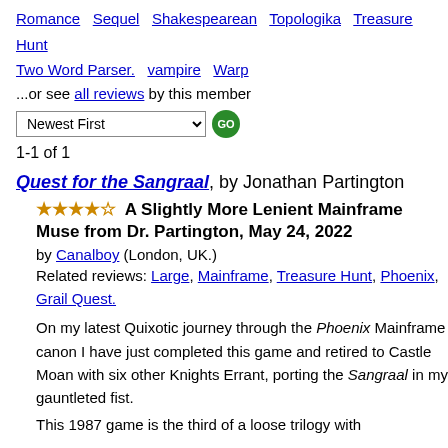Romance   Sequel   Shakespearean   Topologika   Treasure Hunt   Two Word Parser.   vampire   Warp
...or see all reviews by this member
Newest First [dropdown] GO
1-1 of 1
Quest for the Sangraal, by Jonathan Partington
★★★★☆ A Slightly More Lenient Mainframe Muse from Dr. Partington, May 24, 2022
by Canalboy (London, UK.)
Related reviews: Large, Mainframe, Treasure Hunt, Phoenix, Grail Quest.
On my latest Quixotic journey through the Phoenix Mainframe canon I have just completed this game and retired to Castle Moan with six other Knights Errant, porting the Sangraal in my gauntleted fist.
This 1987 game is the third of a loose trilogy with